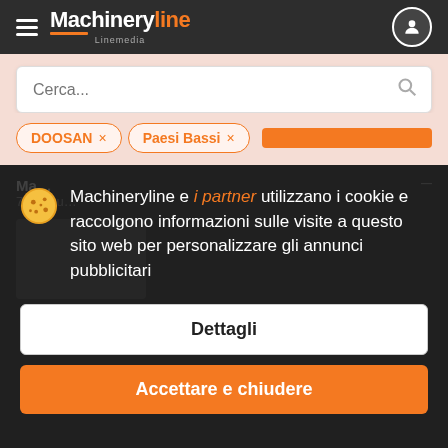Machineryline Linemedia
Cerca...
DOOSAN × Paesi Bassi ×
Machineryline e i partner utilizzano i cookie e raccolgono informazioni sulle visite a questo sito web per personalizzare gli annunci pubblicitari
Dettagli
Accettare e chiudere